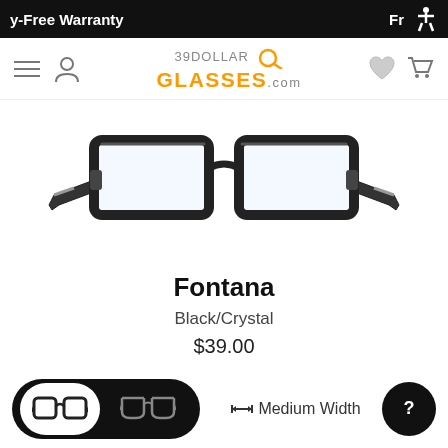y-Free Warranty
[Figure (logo): 39DollarGlasses.com logo with magnifying glass icon]
[Figure (photo): Fontana eyeglasses in Black/Crystal color, front view showing black rectangular frames with clear lenses]
Fontana
Black/Crystal
$39.00
[Figure (other): Two color swatches: black (selected, with border) and brown]
↔ Medium Width
[Figure (other): Frame style selector toggle showing full-frame and semi-rimless options, plus a help button]